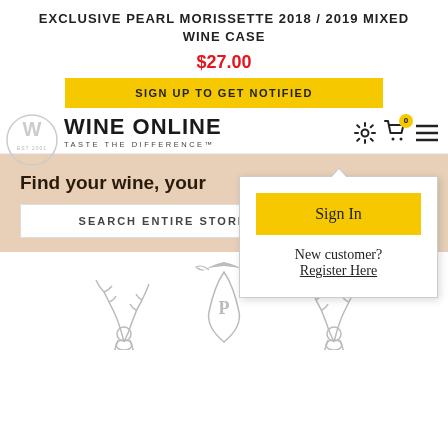EXCLUSIVE PEARL MORISSETTE 2018 / 2019 MIXED WINE CASE
$27.00
SIGN UP TO GET NOTIFIED
WINE ONLINE TASTE THE DIFFERENCE™
Sign In
New customer? Register Here
Find your wine, your...
SEARCH ENTIRE STORE...
[Figure (logo): Pearl Morissette winery logo with stag motifs and crest, in grey tone at bottom of page]